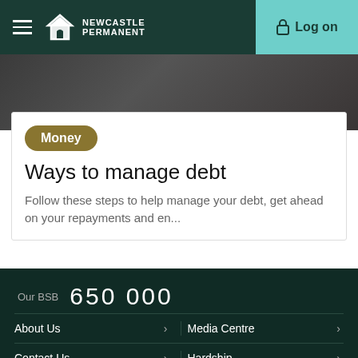Newcastle Permanent — Log on
[Figure (photo): Dark background hero image, partially visible at top of article card]
Money
Ways to manage debt
Follow these steps to help manage your debt, get ahead on your repayments and en...
Our BSB   650 000
About Us
Media Centre
Contact Us
Hardship
Careers
Home loans
Interest rates
Calculators